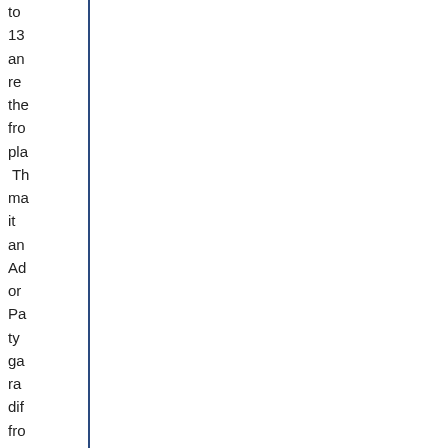to
13
an
re
the
fro
pl
  Th
ma
it
an
Ad
or
Pa
ty
ga
ra
dif
fro